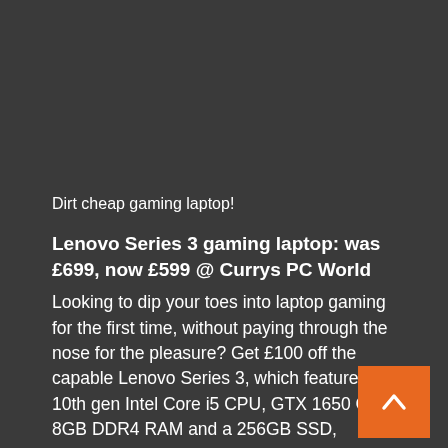Dirt cheap gaming laptop!
Lenovo Series 3 gaming laptop: was £699, now £599 @ Currys PC World
Looking to dip your toes into laptop gaming for the first time, without paying through the nose for the pleasure? Get £100 off the capable Lenovo Series 3, which features a 10th gen Intel Core i5 CPU, GTX 1650 GPU, 8GB DDR4 RAM and a 256GB SSD, alongside a full HD screen with 120Hz refresh rate.View Deal